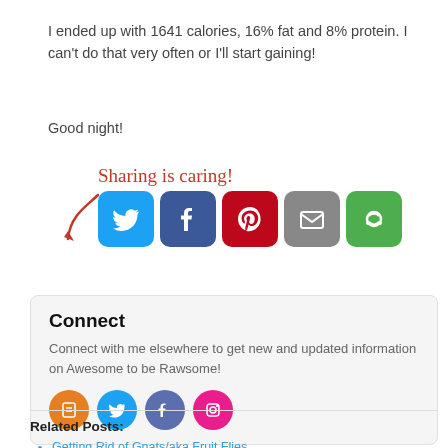I ended up with 1641 calories, 16% fat and 8% protein. I can't do that very often or I'll start gaining!
Good night!
[Figure (infographic): Sharing is caring! label with arrow and social media icon buttons: Twitter (blue), Facebook (dark blue), Pinterest (red), Email (grey), Share (green)]
Connect
Connect with me elsewhere to get new and updated information on Awesome to be Rawsome!
[Figure (infographic): Four circular social media icons: orange, light blue, purple, pink]
Related Posts:
Getting Rid of Gnats/aka Fruit Flies
Vegan Raw (& Cooked) Giveaway